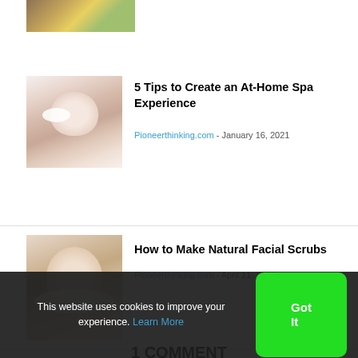[Figure (photo): Partial top image showing a yellow/green background with wooden elements]
[Figure (photo): Woman with white eye patches touching her chin, skincare photo]
5 Tips to Create an At-Home Spa Experience
Pioneerthinking.com - January 16, 2021
[Figure (photo): Person applying white facial scrub to their face, skincare photo]
How to Make Natural Facial Scrubs
Pioneerthinking.com - April 11, 2020
1 COMMENT
PS
This website uses cookies to improve your experience. Learn More